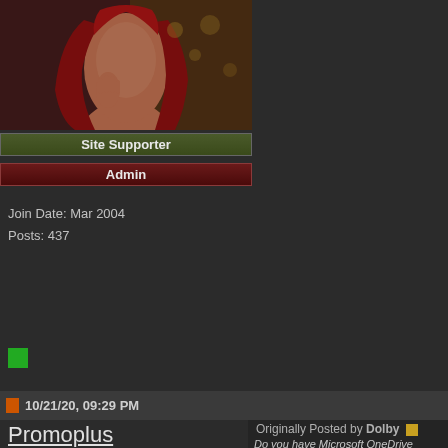[Figure (photo): Avatar photo of a woman with long red hair against a decorative background]
Site Supporter
Admin
Join Date: Mar 2004
Posts: 437
[Figure (other): Green online indicator square]
10/21/20, 09:29 PM
Promoplus
Join Date: Jan 2019
Posts: 4
Originally Posted by Dolby
Do you have Microsoft OneDrive
If you're not sure are you able to
C:\Users\<your username>\OneD
If yes, open Minion.
Make sure Elder Scrolls O
Select "Options" from the
Click on the folder icon un window will open.
navigate to this path: C:\U Online\live\AddOns and cl
re-install the addons throu